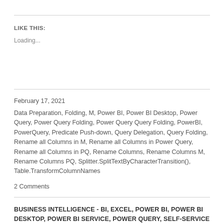LIKE THIS:
Loading...
February 17, 2021
Data Preparation, Folding, M, Power BI, Power BI Desktop, Power Query, Power Query Folding, Power Query Query Folding, PowerBI, PowerQuery, Predicate Push-down, Query Delegation, Query Folding, Rename all Columns in M, Rename all Columns in Power Query, Rename all Columns in PQ, Rename Columns, Rename Columns M, Rename Columns PQ, Splitter.SplitTextByCharacterTransition(), Table.TransformColumnNames
2 Comments
BUSINESS INTELLIGENCE - BI, EXCEL, POWER BI, POWER BI DESKTOP, POWER BI SERVICE, POWER QUERY, SELF-SERVICE BI